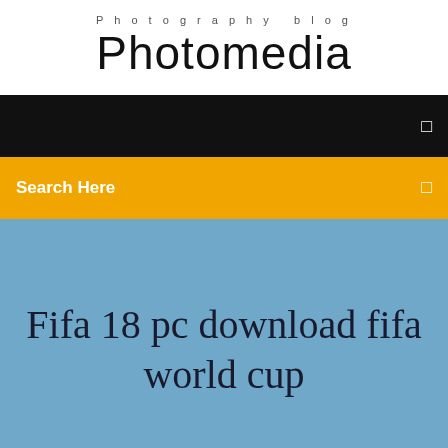Photography blog
Photomedia
☰
Search Here ☰
Fifa 18 pc download fifa world cup